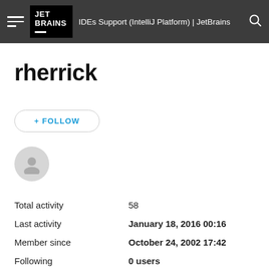IDEs Support (IntelliJ Platform) | JetBrains
rherrick
+ FOLLOW
[Figure (illustration): Generic user avatar circle icon in light grey]
|  |  |
| --- | --- |
| Total activity | 58 |
| Last activity | January 18, 2016 00:16 |
| Member since | October 24, 2002 17:42 |
| Following | 0 users |
| Followed by | 0 users |